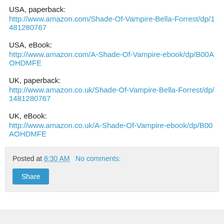USA, paperback:
http://www.amazon.com/Shade-Of-Vampire-Bella-Forrest/dp/1481280767
USA, eBook:
http://www.amazon.com/A-Shade-Of-Vampire-ebook/dp/B00AOHDMFE
UK, paperback:
http://www.amazon.co.uk/Shade-Of-Vampire-Bella-Forrest/dp/1481280767
UK, eBook:
http://www.amazon.co.uk/A-Shade-Of-Vampire-ebook/dp/B00AOHDMFE
Posted at 8:30 AM   No comments:
Share